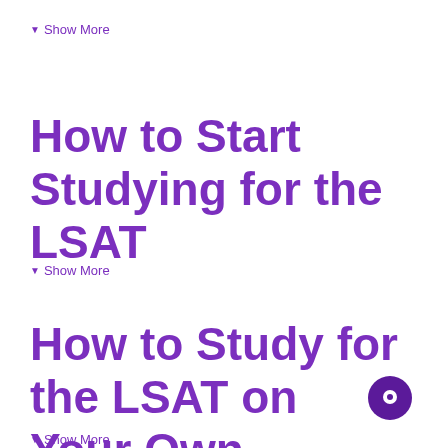▼ Show More
How to Start Studying for the LSAT
▼ Show More
How to Study for the LSAT on Your Own
▼ Show More